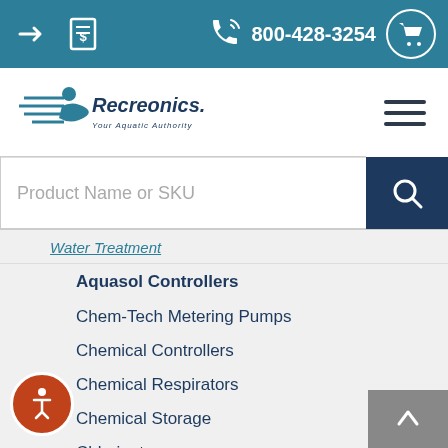800-428-3254
[Figure (logo): Recreonics logo - Your Aquatic Authority]
Product Name or SKU
Water Treatment
Aquasol Controllers
Chem-Tech Metering Pumps
Chemical Controllers
Chemical Respirators
Chemical Storage
Chlorinators
CO2 Feeders
Controllers Accessories
Erosion Feeders
Flex-Flo Metering Pump
LMI Metering Pumps